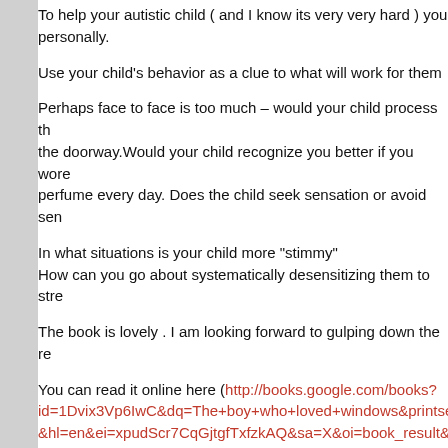To help your autistic child ( and I know its very very hard ) you personally.
Use your child's behavior as a clue to what will work for them
Perhaps face to face is too much – would your child process th the doorway.Would your child recognize you better if you wore perfume every day. Does the child seek sensation or avoid sen
In what situations is your child more "stimmy"
How can you go about systematically desensitizing them to stre
The book is lovely . I am looking forward to gulping down the re
You can read it online here (http://books.google.com/books?id=1Dvix3Vp6IwC&dq=The+boy+who+loved+windows&printse&hl=en&ei=xpudScr7CqGjtgfTxfzkAQ&sa=X&oi=book_result&r297,M1)